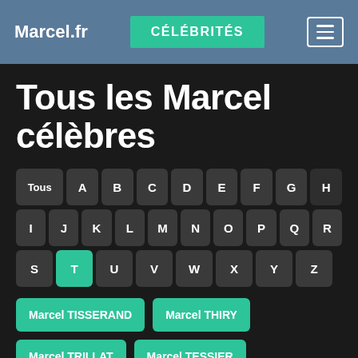Marcel.fr | CÉLÉBRITÉS
Tous les Marcel célèbres
[Figure (other): Alphabet filter buttons grid: Tous, A-H (row 1), I-R (row 2), S-Z (row 3) with T highlighted in teal/green]
Marcel TISSERAND
Marcel THIRY
Marcel TRILLAT
Marcel TESSIER